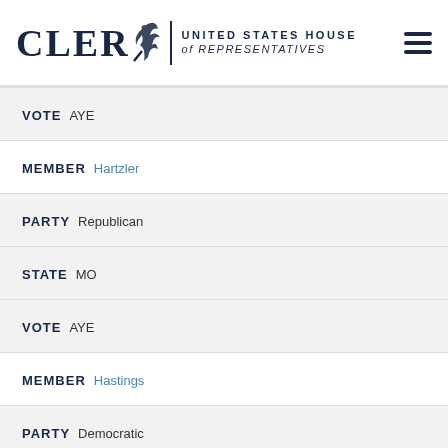CLERK UNITED STATES HOUSE of REPRESENTATIVES
VOTE AYE
MEMBER Hartzler
PARTY Republican
STATE MO
VOTE AYE
MEMBER Hastings
PARTY Democratic
STATE FL